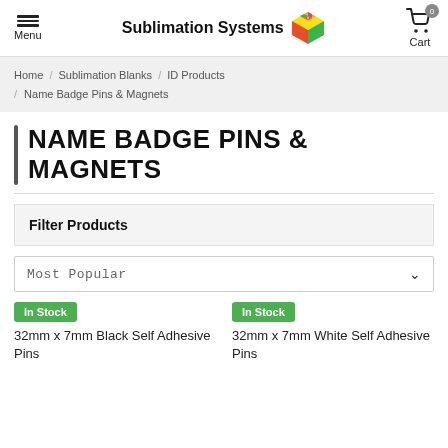Sublimation Systems — Menu / Cart
Home / Sublimation Blanks / ID Products / Name Badge Pins & Magnets
NAME BADGE PINS & MAGNETS
Filter Products
Most Popular
In Stock
32mm x 7mm Black Self Adhesive Pins
In Stock
32mm x 7mm White Self Adhesive Pins